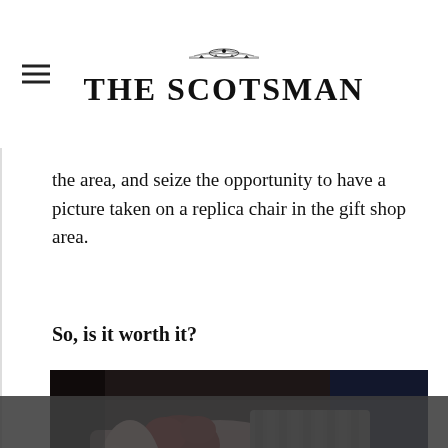THE SCOTSMAN
the area, and seize the opportunity to have a picture taken on a replica chair in the gift shop area.
So, is it worth it?
[Figure (photo): Close-up photograph of a person wearing a pink fur-trimmed coat with knitted grey sleeves and a silver chain, with red fabric visible at the collar, against a dark background.]